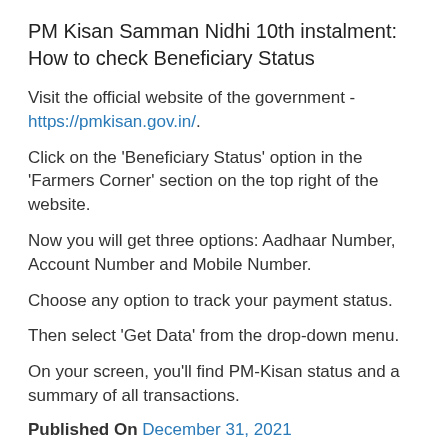PM Kisan Samman Nidhi 10th instalment: How to check Beneficiary Status
Visit the official website of the government - https://pmkisan.gov.in/.
Click on the 'Beneficiary Status' option in the 'Farmers Corner' section on the top right of the website.
Now you will get three options: Aadhaar Number, Account Number and Mobile Number.
Choose any option to track your payment status.
Then select 'Get Data' from the drop-down menu.
On your screen, you'll find PM-Kisan status and a summary of all transactions.
Published On December 31, 2021